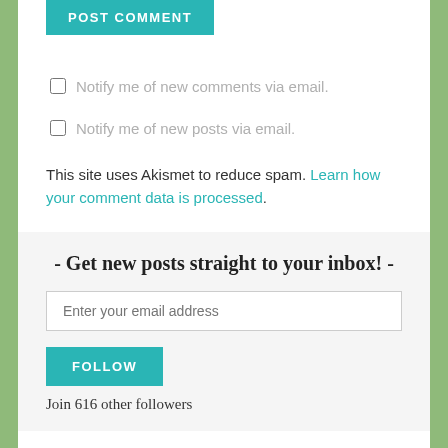[Figure (other): POST COMMENT teal button]
Notify me of new comments via email.
Notify me of new posts via email.
This site uses Akismet to reduce spam. Learn how your comment data is processed.
- Get new posts straight to your inbox! -
[Figure (other): Email address input field with placeholder 'Enter your email address']
[Figure (other): FOLLOW teal button]
Join 616 other followers